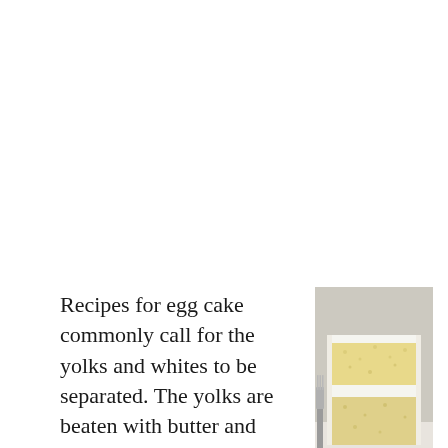Recipes for egg cake commonly call for the yolks and whites to be separated. The yolks are beaten with butter and sugar before flour and flavoring are added, and the whites are
[Figure (photo): A slice of yellow layer cake with white frosting on a white plate, with a fork partially under the slice. The cake has two layers with white cream filling.]